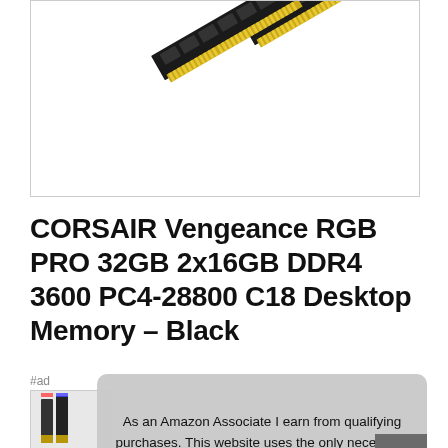[Figure (photo): Two DDR4 RAM sticks (SODIMM form factor) shown diagonally, gold contacts visible at bottom, dark PCB with chips on top, on white background inside a light grey bordered box.]
CORSAIR Vengeance RGB PRO 32GB 2x16GB DDR4 3600 PC4-28800 C18 Desktop Memory – Black
#ad
[Figure (photo): Thumbnail image of a RAM stick with RGB lighting, partially visible.]
As an Amazon Associate I earn from qualifying purchases. This website uses the only necessary cookies to ensure you get the best experience on our website. More information